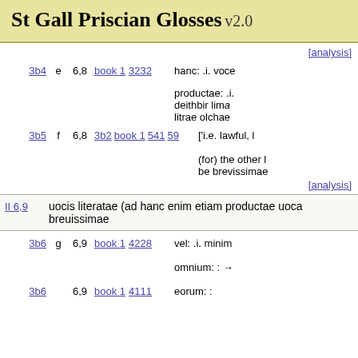St Gall Priscian Glosses v2.0
[analysis]
| ref | letter | num | links | gloss |
| --- | --- | --- | --- | --- |
| 3b4 | e | 6,8 | book 1 3232 | hanc: .i. voce... |
|  |  |  |  | productae: .i. deithbir lim... litrae olchae |
| 3b5 | f | 6,8 | 3b2 book 1 541 59 | ['i.e. lawful, l... (for) the other l... be brevissimae |
|  |  |  | [analysis] |  |
uocis literatae (ad hanc enim etiam productae uoca... breuissimae
| ref | letter | num | links | gloss |
| --- | --- | --- | --- | --- |
| 3b6 | g | 6,9 | book 1 4228 | vel: .i. minim... |
|  |  |  |  | omnium: : → |
| 3b6 |  | 6,9 | book 1 4111 | eorum: : |